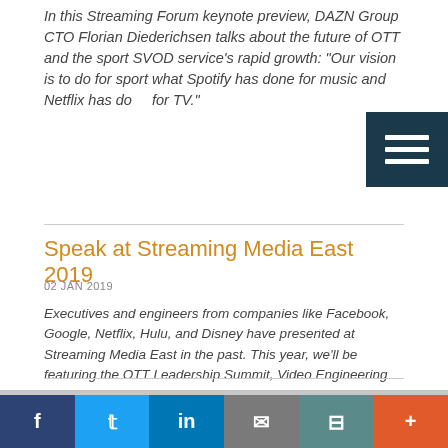In this Streaming Forum keynote preview, DAZN Group CTO Florian Diederichsen talks about the future of OTT and the sport SVOD service's rapid growth: "Our vision is to do for sport what Spotify has done for music and Netflix has done for TV."
[Figure (other): Dark teal/navy hamburger menu icon with three white horizontal lines on dark background]
Speak at Streaming Media East 2019
02 JAN 2019
Executives and engineers from companies like Facebook, Google, Netflix, Hulu, and Disney have presented at Streaming Media East in the past. This year, we'll be featuring the OTT Leadership Summit, Video Engineering Summit, and Live Streaming Summit, and it could be your turn.
[Figure (other): Social media sharing bar with Facebook, Twitter, LinkedIn, email, print, and more buttons]